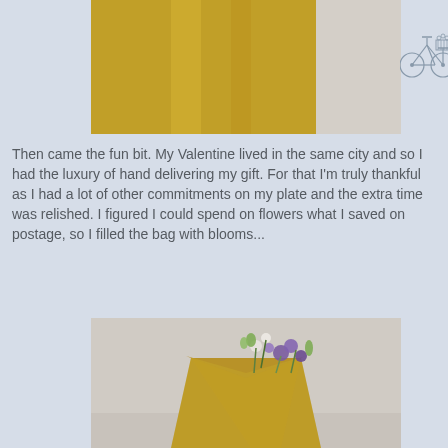[Figure (photo): Close-up photo of a yellow/mustard colored paper bag against a light background]
[Figure (illustration): Small decorative bicycle line drawing logo in top right corner]
Then came the fun bit. My Valentine lived in the same city and so I had the luxury of hand delivering my gift. For that I'm truly thankful as I had a lot of other commitments on my plate and the extra time was relished. I figured I could spend on flowers what I saved on postage, so I filled the bag with blooms...
[Figure (photo): Photo of a yellow mustard bag filled with purple, white and green flowers against a light background]